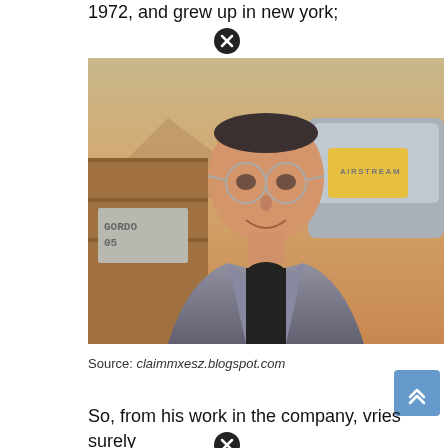1972, and grew up in new york;
[Figure (photo): A man with glasses smiling in front of an Airstream trailer and wooden structure. A sign reads 'GORDO 05'. The setting appears to be an outdoor desert/mountain location at golden hour.]
Source: claimmxesz.blogspot.com
So, from his work in the company, vries surely